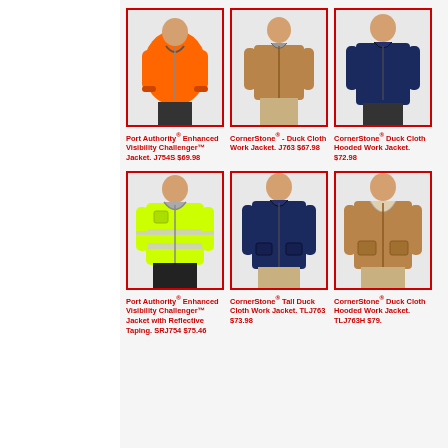[Figure (photo): Product grid of work jackets — top row: orange Port Authority jacket, tan CornerStone Duck Cloth jacket, navy CornerStone Duck Cloth Hooded jacket; bottom row: yellow/reflective Port Authority Enhanced Visibility jacket, navy CornerStone Tall Duck Cloth jacket, tan CornerStone Tall Duck Cloth Hooded jacket]
Port Authority® Enhanced Visibility Challenger™ Jacket. J754S $69.98
CornerStone® - Duck Cloth Work Jacket. J763 $67.98
CornerStone® Duck Cloth Hooded Work Jacket. $72.98
Port Authority® Enhanced Visibility Challenger™ Jacket with Reflective Taping. SRJ754 $75.46
CornerStone® Tall Duck Cloth Work Jacket. TLJ763 $73.98
CornerStone® Duck Cloth Hooded Work Jacket. TLJ763H $79.